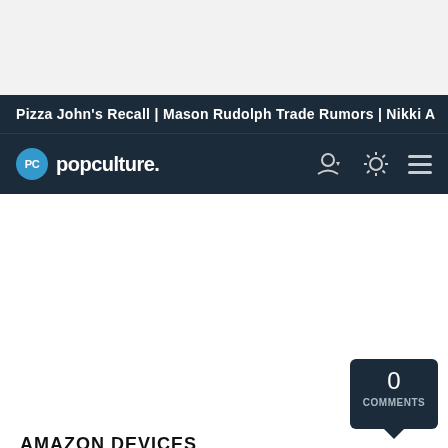Pizza John's Recall | Mason Rudolph Trade Rumors | Nikki A
[Figure (logo): PopCulture.com logo with PC circle icon and navigation icons]
AMAZON DEVICES
Kindle for $49.99 (usually $79.99)
0 COMMENTS